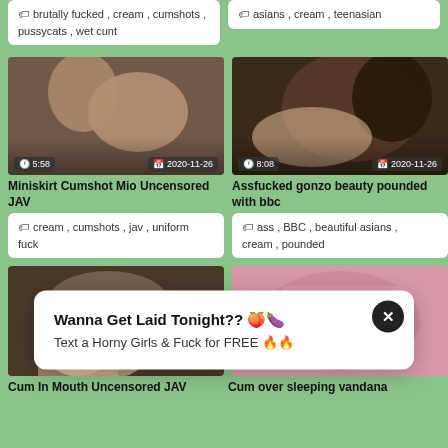brutally fucked , cream , cumshots , pussycats , wet cunt
asians , cream , teenasian
[Figure (photo): Video thumbnail showing intimate scene, duration 5:58, date 2020-11-26]
[Figure (photo): Video thumbnail showing intimate scene, duration 8:08, date 2020-11-26]
Miniskirt Cumshot Mio Uncensored JAV
Assfucked gonzo beauty pounded with bbc
cream , cumshots , jav , uniform fuck
ass , BBC , beautiful asians , cream , pounded
[Figure (photo): Video thumbnail for Cum In Mouth Uncensored JAV]
[Figure (photo): Video thumbnail for Cum over sleeping vandana]
Wanna Get Laid Tonight?? 🍑🍆
Text a Horny Girls & Fuck for FREE 🔥🔥
Cum In Mouth Uncensored JAV
Cum over sleeping vandana